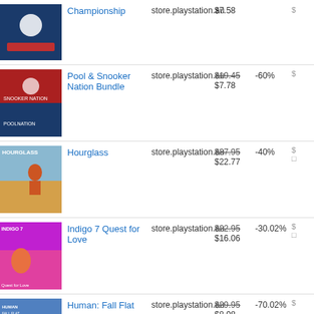Championship | store.playstation.au | $7.58
Pool & Snooker Nation Bundle | store.playstation.au | $19.45 -60% $7.78
Hourglass | store.playstation.au | $37.95 -40% $22.77
Indigo 7 Quest for Love | store.playstation.au | $22.95 -30.02% $16.06
Human: Fall Flat | store.playstation.au | $29.95 -70.02% $8.98
Concept | store.playstation.au | $7.55 -40%